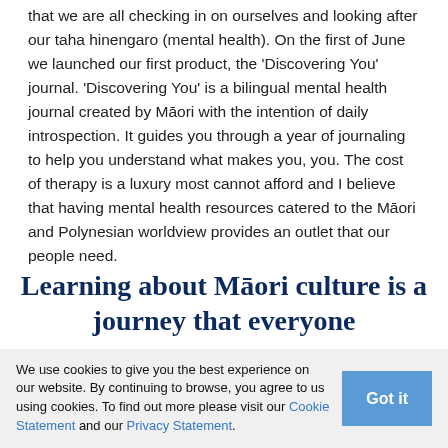that we are all checking in on ourselves and looking after our taha hinengaro (mental health). On the first of June we launched our first product, the 'Discovering You' journal. 'Discovering You' is a bilingual mental health journal created by Māori with the intention of daily introspection. It guides you through a year of journaling to help you understand what makes you, you. The cost of therapy is a luxury most cannot afford and I believe that having mental health resources catered to the Māori and Polynesian worldview provides an outlet that our people need.
Learning about Māori culture is a journey that everyone
We use cookies to give you the best experience on our website. By continuing to browse, you agree to us using cookies. To find out more please visit our Cookie Statement and our Privacy Statement.